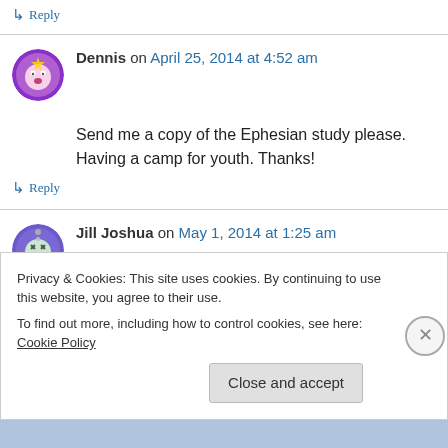↳ Reply
Dennis on April 25, 2014 at 4:52 am
Send me a copy of the Ephesian study please. Having a camp for youth. Thanks!
↳ Reply
Jill Joshua on May 1, 2014 at 1:25 am
Privacy & Cookies: This site uses cookies. By continuing to use this website, you agree to their use.
To find out more, including how to control cookies, see here: Cookie Policy
Close and accept